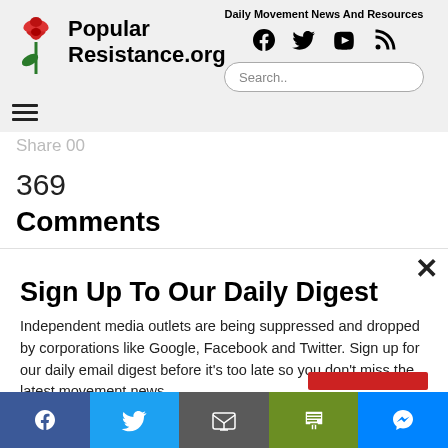Popular Resistance.org — Daily Movement News And Resources
Share 00
369
Comments
Sign Up To Our Daily Digest
Independent media outlets are being suppressed and dropped by corporations like Google, Facebook and Twitter. Sign up for our daily email digest before it's too late so you don't miss the latest movement news.
Social share bar: Facebook, Twitter, Email, Print, Messenger